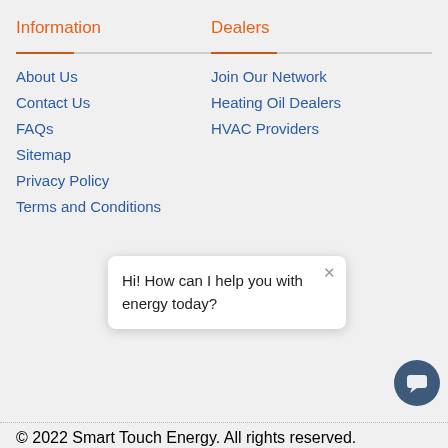Information
About Us
Contact Us
FAQs
Sitemap
Privacy Policy
Terms and Conditions
Dealers
Join Our Network
Heating Oil Dealers
HVAC Providers
[Figure (illustration): Verified badge with 'VERIFIED' text in gold arc, and partial 'A+' text below]
[Figure (screenshot): Chat popup with close X and text: Hi! How can I help you with energy today?]
© 2022 Smart Touch Energy. All rights reserved.